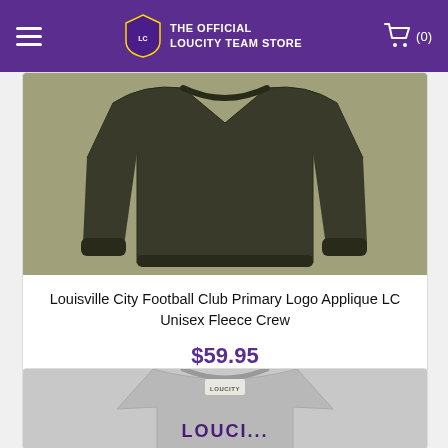THE OFFICIAL LOUCITY TEAM STORE
[Figure (photo): Dark olive/charcoal crewneck fleece sweatshirt laid flat, showing the torso and sleeves]
Louisville City Football Club Primary Logo Applique LC Unisex Fleece Crew
$59.95
CHOOSE OPTIONS
[Figure (photo): Gray crewneck sweatshirt with LOUCITY logo text visible at neckline, partially cropped]